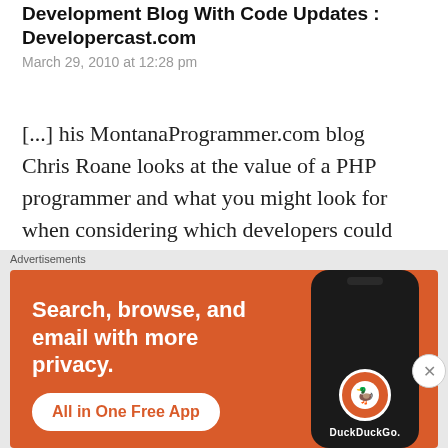Development Blog With Code Updates : Developercast.com
March 29, 2010 at 12:28 pm
[...] his MontanaProgrammer.com blog Chris Roane looks at the value of a PHP programmer and what you might look for when considering which developers could make the most difference. [...]
Like
Advertisements
[Figure (photo): DuckDuckGo advertisement banner with orange background. Text: 'Search, browse, and email with more privacy. All in One Free App'. Shows a smartphone with DuckDuckGo logo.]